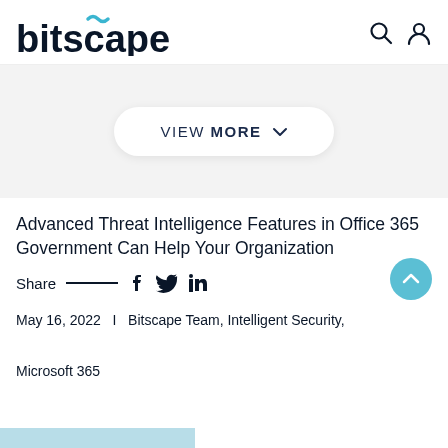[Figure (logo): Bitscape logo with stylized tilde/wave above 'a' in teal color]
[Figure (screenshot): Gray banner area with a white rounded pill button labeled VIEW MORE with chevron down]
Advanced Threat Intelligence Features in Office 365 Government Can Help Your Organization
Share  —  f  Twitter  in
May 16, 2022  |  Bitscape Team, Intelligent Security, Microsoft 365